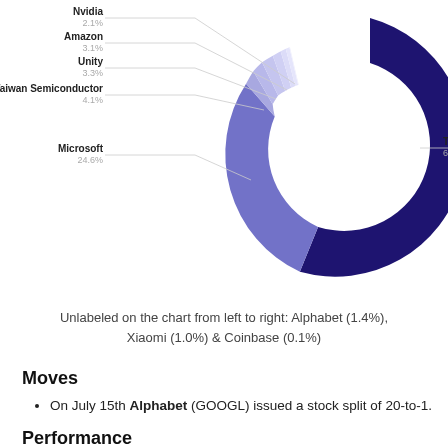[Figure (donut-chart): ]
Unlabeled on the chart from left to right: Alphabet (1.4%), Xiaomi (1.0%) & Coinbase (0.1%)
Moves
On July 15th Alphabet (GOOGL) issued a stock split of 20-to-1.
Performance